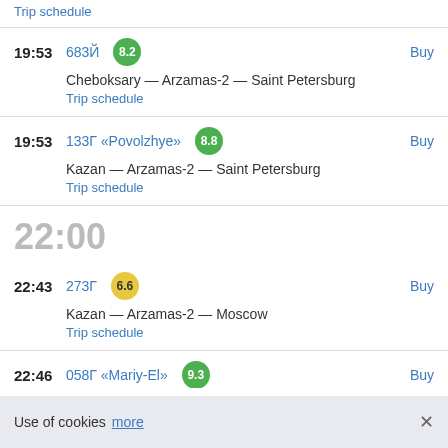Trip schedule
19:53  683Й  8.2  Buy
Cheboksary — Arzamas-2 — Saint Petersburg
Trip schedule
19:53  133Г «Povolzhye»  8.8  Buy
Kazan — Arzamas-2 — Saint Petersburg
Trip schedule
22:00
22:43  273Г  6.6  Buy
Kazan — Arzamas-2 — Moscow
Trip schedule
22:46  058Г «Mariy-El»  9.3  Buy
Moscow — Arzamas-2 — Yoshkar Ola
Use of cookies  more